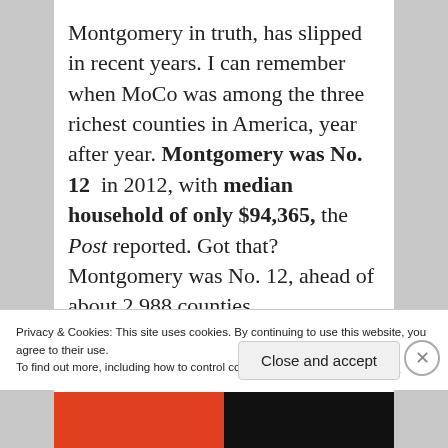Montgomery in truth, has slipped in recent years. I can remember when MoCo was among the three richest counties in America, year after year. Montgomery was No. 12 in 2012, with median household of only $94,365, the Post reported. Got that? Montgomery was No. 12, ahead of about 2,988 counties
Privacy & Cookies: This site uses cookies. By continuing to use this website, you agree to their use.
To find out more, including how to control cookies, see here: Cookie Policy
Close and accept